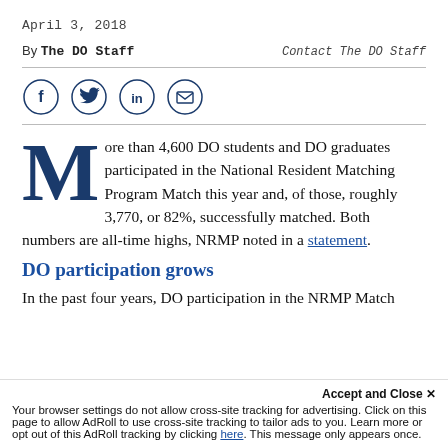April 3, 2018
By The DO Staff    Contact The DO Staff
[Figure (infographic): Social share icons: Facebook, Twitter, LinkedIn, Email — each in a circle outline]
More than 4,600 DO students and DO graduates participated in the National Resident Matching Program Match this year and, of those, roughly 3,770, or 82%, successfully matched. Both numbers are all-time highs, NRMP noted in a statement.
DO participation grows
In the past four years, DO participation in the NRMP Match is up nearly 60%, and the DO match rate is up 10 percentage points, NRMP noted in the press release, and the